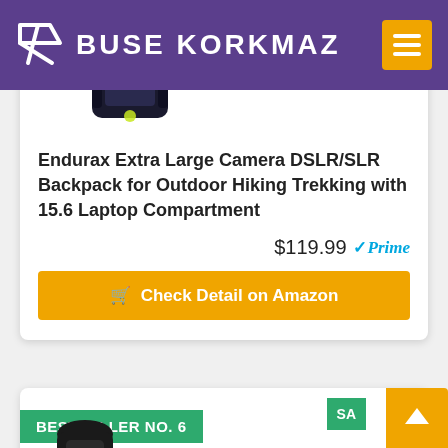BUSE KORKMAZ
[Figure (photo): Black camera DSLR/SLR backpack product photo, partially visible at top of card]
Endurax Extra Large Camera DSLR/SLR Backpack for Outdoor Hiking Trekking with 15.6 Laptop Compartment
$119.99 ✓Prime
Check Detail on Amazon
BESTSELLER NO. 6
SA
[Figure (photo): Black backpack with pink details, second product listing, partially visible at bottom]